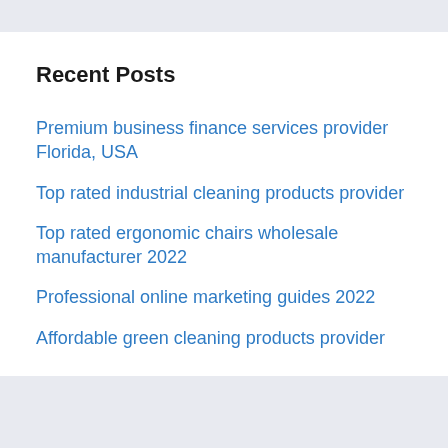Recent Posts
Premium business finance services provider Florida, USA
Top rated industrial cleaning products provider
Top rated ergonomic chairs wholesale manufacturer 2022
Professional online marketing guides 2022
Affordable green cleaning products provider